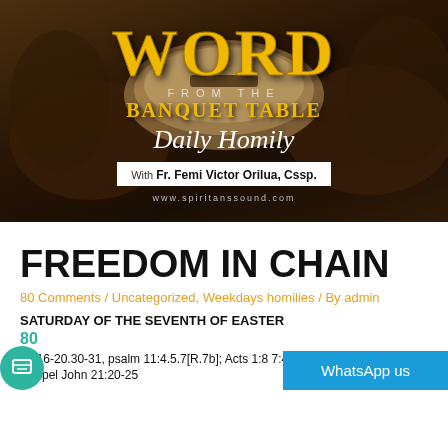[Figure (photo): Banner image with hands holding an open book/Bible in the background (dark brown tone). Overlaid text reads: WORD FROM THE BANQUET TABLE, Daily Homily, With Fr. Femi Victor Orilua, Cssp., www.spiritanssound.com]
FREEDOM IN CHAIN
80 Comments / Uncategorized, Weekdays homilies / By admin
SATURDAY OF THE SEVENTH OF EASTER
80
28:16-20.30-31, psalm 11:4.5.7[R.7b]; Acts 1:8 7:49
Gospel John 21:20-25